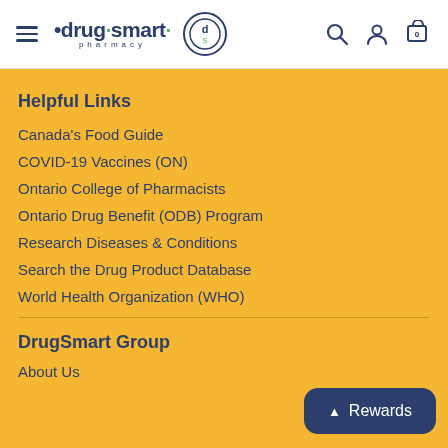[Figure (logo): Drug Smart Pharmacy logo with hamburger menu, brand name, circular DS icon, search, account, and cart icons in white header navigation bar]
Helpful Links
Canada's Food Guide
COVID-19 Vaccines (ON)
Ontario College of Pharmacists
Ontario Drug Benefit (ODB) Program
Research Diseases & Conditions
Search the Drug Product Database
World Health Organization (WHO)
DrugSmart Group
About Us
Rewards